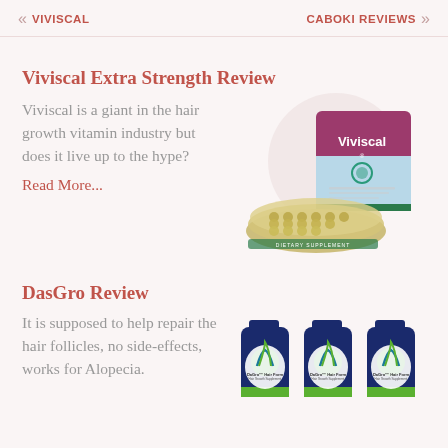« VIVISCAL    CABOKI REVIEWS »
Viviscal Extra Strength Review
Viviscal is a giant in the hair growth vitamin industry but does it live up to the hype? Read More...
[Figure (photo): Viviscal product packaging with pill blister packs in front]
DasGro Review
It is supposed to help repair the hair follicles, no side-effects, works for Alopecia.
[Figure (photo): Three DasGro Hair Formula supplement bottles]